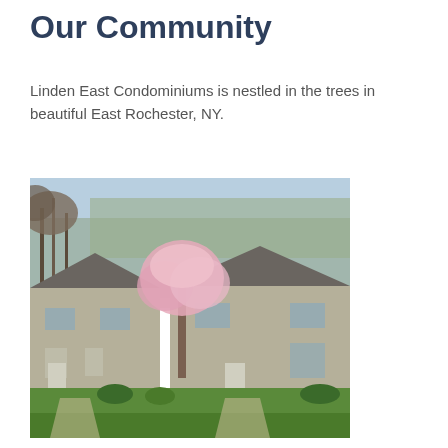Our Community
Linden East Condominiums is nestled in the trees in beautiful East Rochester, NY.
[Figure (photo): Exterior photo of Linden East Condominiums showing two-story tan/beige buildings with a blooming pink cherry tree in the foreground, surrounded by green lawn and bare trees in the background, taken in spring.]